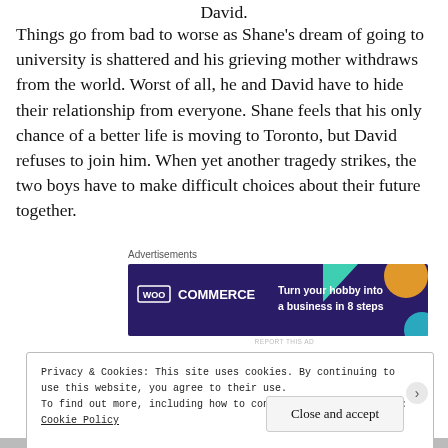David.
Things go from bad to worse as Shane’s dream of going to university is shattered and his grieving mother withdraws from the world. Worst of all, he and David have to hide their relationship from everyone. Shane feels that his only chance of a better life is moving to Toronto, but David refuses to join him. When yet another tragedy strikes, the two boys have to make difficult choices about their future together.
[Figure (screenshot): WooCommerce advertisement banner: 'Turn your hobby into a business in 8 steps' on dark purple background with colorful geometric shapes]
Privacy & Cookies: This site uses cookies. By continuing to use this website, you agree to their use.
To find out more, including how to control cookies, see here: Cookie Policy
Close and accept